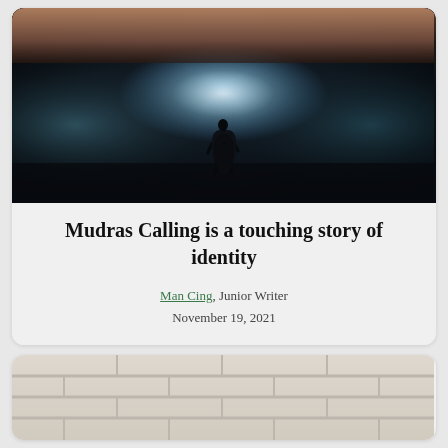[Figure (photo): Dark cinematic tunnel/corridor with a silhouette of a person running toward a bright light source at the end, misty blue atmosphere, hands visible at the top of the frame]
Mudras Calling is a touching story of identity
Man Cing, Junior Writer
November 19, 2021
[Figure (photo): Close-up photo of a white/cream painted cinder block or concrete brick wall]